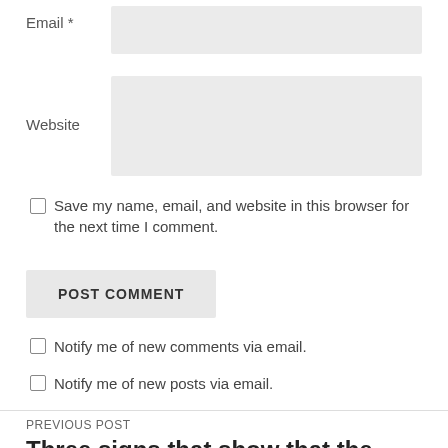Email *
Website
Save my name, email, and website in this browser for the next time I comment.
POST COMMENT
Notify me of new comments via email.
Notify me of new posts via email.
PREVIOUS POST
Three signs that show that the Royals'